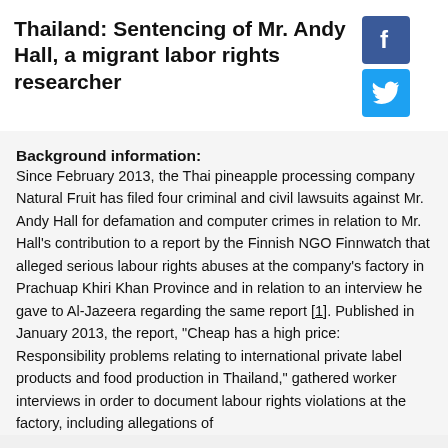Thailand: Sentencing of Mr. Andy Hall, a migrant labor rights researcher
Background information:
Since February 2013, the Thai pineapple processing company Natural Fruit has filed four criminal and civil lawsuits against Mr. Andy Hall for defamation and computer crimes in relation to Mr. Hall's contribution to a report by the Finnish NGO Finnwatch that alleged serious labour rights abuses at the company's factory in Prachuap Khiri Khan Province and in relation to an interview he gave to Al-Jazeera regarding the same report [1]. Published in January 2013, the report, "Cheap has a high price: Responsibility problems relating to international private label products and food production in Thailand," gathered worker interviews in order to document labour rights violations at the factory, including allegations of